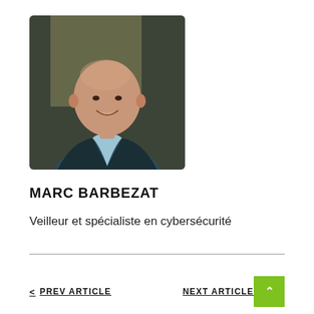[Figure (photo): Professional headshot of Marc Barbezat, a bald man smiling, wearing a dark blazer and light blue shirt, photographed against a blurred indoor background.]
MARC BARBEZAT
Veilleur et spécialiste en cybersécurité
< PREV ARTICLE
NEXT ARTICLE